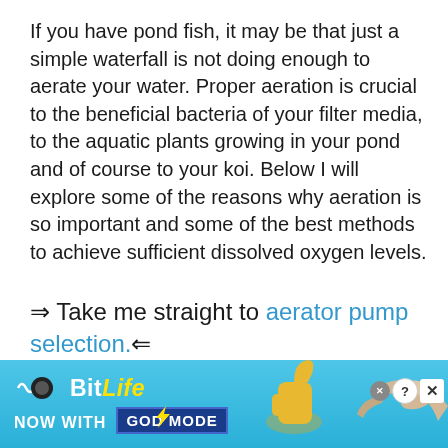If you have pond fish, it may be that just a simple waterfall is not doing enough to aerate your water. Proper aeration is crucial to the beneficial bacteria of your filter media, to the aquatic plants growing in your pond and of course to your koi. Below I will explore some of the reasons why aeration is so important and some of the best methods to achieve sufficient dissolved oxygen levels.
⇒ Take me straight to aerator pump selection.⇐
What causes oxygen depletion? Looking at
[Figure (screenshot): BitLife advertisement banner with light blue gradient background, BitLife logo with yellow italic LIFE text, 'NOW WITH GOD MODE' text, thumbs up emoji, and pointing hand graphic. Corner shows question mark circle and X button.]